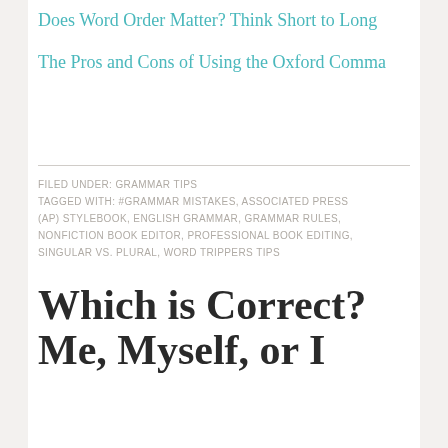Does Word Order Matter? Think Short to Long
The Pros and Cons of Using the Oxford Comma
FILED UNDER: GRAMMAR TIPS
TAGGED WITH: #GRAMMAR MISTAKES, ASSOCIATED PRESS (AP) STYLEBOOK, ENGLISH GRAMMAR, GRAMMAR RULES, NONFICTION BOOK EDITOR, PROFESSIONAL BOOK EDITING, SINGULAR VS. PLURAL, WORD TRIPPERS TIPS
Which is Correct? Me, Myself, or I